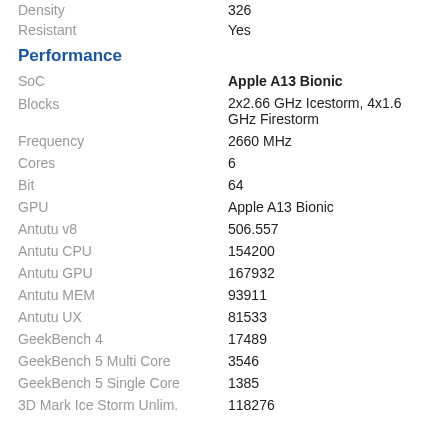| Property | Value |
| --- | --- |
| Density | 326 |
| Resistant | Yes |
Performance
| Property | Value |
| --- | --- |
| SoC | Apple A13 Bionic |
| Blocks | 2x2.66 GHz Icestorm, 4x1.6 GHz Firestorm |
| Frequency | 2660 MHz |
| Cores | 6 |
| Bit | 64 |
| GPU | Apple A13 Bionic |
| Antutu v8 | 506.557 |
| Antutu CPU | 154200 |
| Antutu GPU | 167932 |
| Antutu MEM | 93911 |
| Antutu UX | 81533 |
| GeekBench 4 | 17489 |
| GeekBench 5 Multi Core | 3546 |
| GeekBench 5 Single Core | 1385 |
| 3D Mark Ice Storm Unlim. | 118276 |